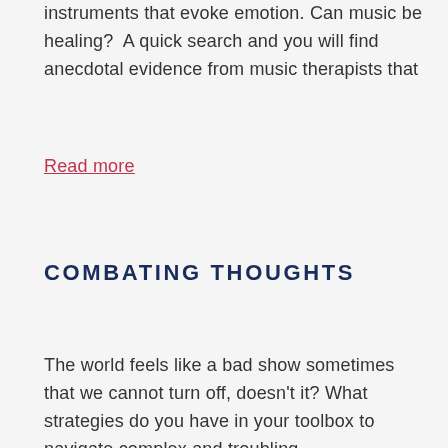instruments that evoke emotion. Can music be healing?  A quick search and you will find anecdotal evidence from music therapists that
Read more
COMBATING THOUGHTS
The world feels like a bad show sometimes that we cannot turn off, doesn't it? What strategies do you have in your toolbox to navigate complex and troubling